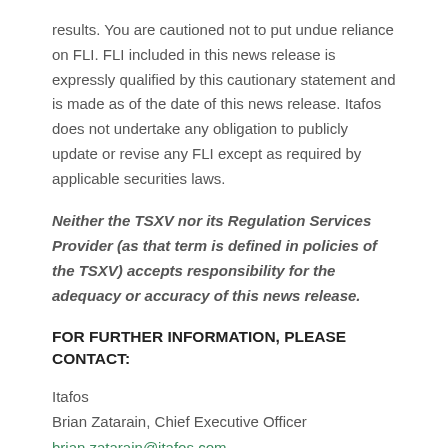results. You are cautioned not to put undue reliance on FLI. FLI included in this news release is expressly qualified by this cautionary statement and is made as of the date of this news release. Itafos does not undertake any obligation to publicly update or revise any FLI except as required by applicable securities laws.
Neither the TSXV nor its Regulation Services Provider (as that term is defined in policies of the TSXV) accepts responsibility for the adequacy or accuracy of this news release.
FOR FURTHER INFORMATION, PLEASE CONTACT:
Itafos
Brian Zatarain, Chief Executive Officer
brian.zatarain@itafos.com
www.itafos.com